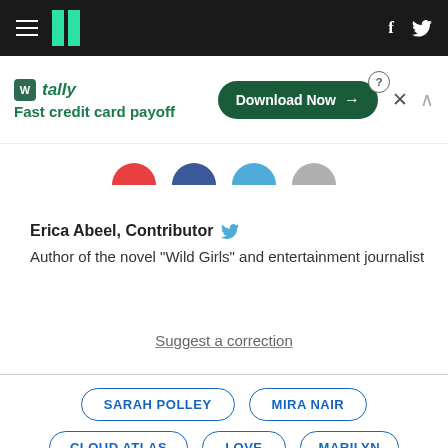HuffPost navigation with hamburger menu, logo, Facebook and Twitter icons
[Figure (screenshot): Tally advertisement banner: logo, 'Fast credit card payoff', Download Now button, close and collapse controls]
[Figure (infographic): Social share buttons: email (red), Facebook (dark blue), Twitter (light blue), more (gray)]
Erica Abeel, Contributor [Twitter icon]
Author of the novel "Wild Girls" and entertainment journalist
Suggest a correction
SARAH POLLEY
MIRA NAIR
CLOUD ATLAS
LOVE
MARILYN